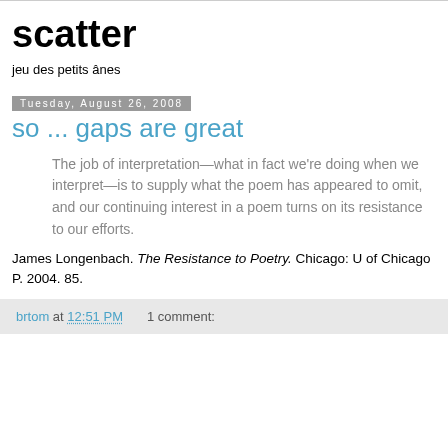scatter
jeu des petits ânes
Tuesday, August 26, 2008
so ... gaps are great
The job of interpretation—what in fact we're doing when we interpret—is to supply what the poem has appeared to omit, and our continuing interest in a poem turns on its resistance to our efforts.
James Longenbach. The Resistance to Poetry. Chicago: U of Chicago P. 2004. 85.
brtom at 12:51 PM   1 comment: